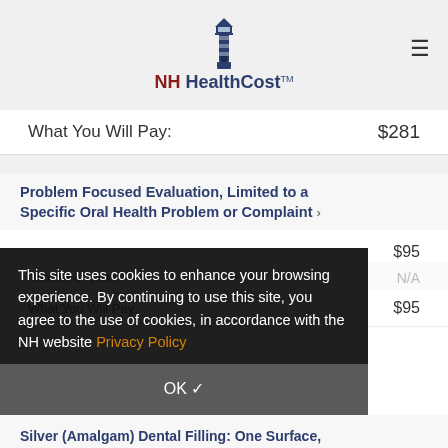NH HealthCost
What You Will Pay: $281
Problem Focused Evaluation, Limited to a Specific Oral Health Problem or Complaint
$95
Number of Visits: N/A
What You Will Pay: $95
This site uses cookies to enhance your browsing experience. By continuing to use this site, you agree to the use of cookies, in accordance with the NH website Privacy Policy
OK ✓
Silver (Amalgam) Dental Filling: One Surface,